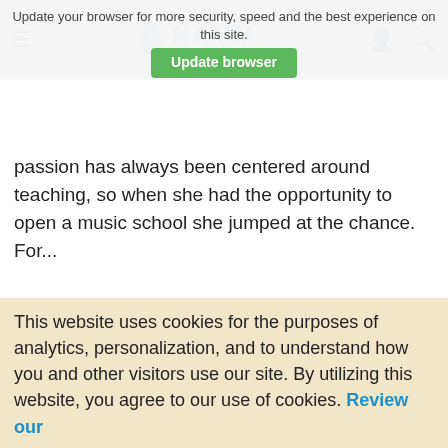[Figure (screenshot): NAMM website header with browser update banner overlay. Shows hamburger menu icon, NAMM flame logo with 'believe in music' tagline, user and search icons. Green 'Update browser' button overlay with text 'Update your browser for more security, speed and the best experience on this site.']
passion has always been centered around teaching, so when she had the opportunity to open a music school she jumped at the chance.  For...
Pianos, Music Lesson Programs, Music Retail, California, NAMM Show, NPTA, Women in the Music Industry
[Figure (photo): Photo of Sara Faust, a woman with glasses and short blonde hair wearing a red top, smiling. Background appears to be an auditorium or formal room.]
Sara Faust
Sara Faust may be the only music retailer who has won both the Chopin Piano Competition's first prize as well as the S...
This website uses cookies for the purposes of analytics, personalization, and to understand how you and other visitors use our site. By utilizing this website, you agree to our use of cookies. Review our